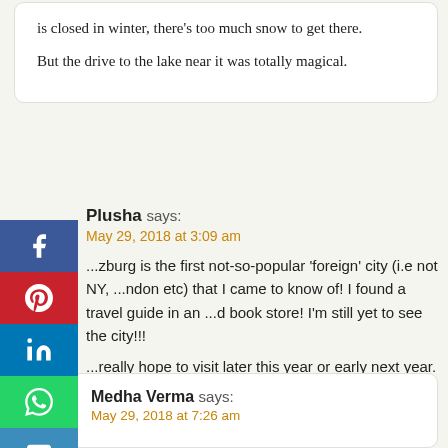is closed in winter, there's too much snow to get there. But the drive to the lake near it was totally magical.
Plusha says: May 29, 2018 at 3:09 am
...zburg is the first not-so-popular 'foreign' city (i.e not NY, ...ndon etc) that I came to know of! I found a travel guide in an ...d book store! I'm still yet to see the city!!! ...really hope to visit later this year or early next year. Good to ...know that the place can be seen even in winter. Hallstatt is just ...cinating...
Medha Verma says: May 29, 2018 at 7:26 am